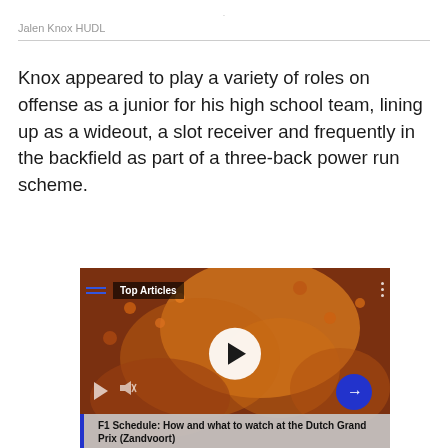.
Jalen Knox HUDL
Knox appeared to play a variety of roles on offense as a junior for his high school team, lining up as a wideout, a slot receiver and frequently in the backfield as part of a three-back power run scheme.
[Figure (screenshot): Video player showing a crowd of people in orange colors with a 'Top Articles' label, a white play button in the center, mute and navigation controls, and a caption bar reading 'F1 Schedule: How and what to watch at the Dutch Grand Prix (Zandvoort)']